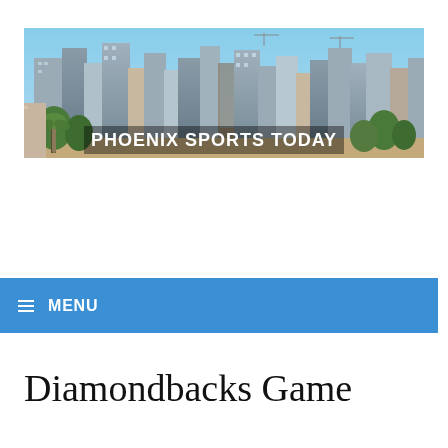[Figure (photo): Phoenix city skyline banner photo with tall buildings and palm trees in foreground, overlaid with bold white text reading PHOENIX SPORTS TODAY]
≡ MENU
Diamondbacks Game